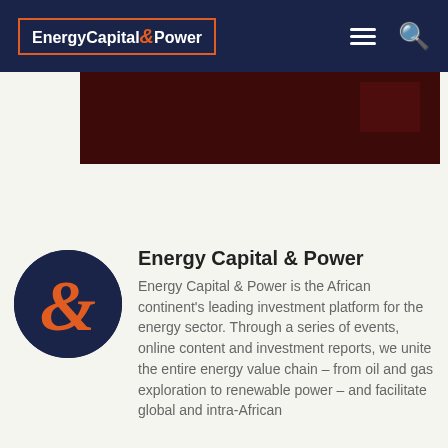Energy Capital & Power
[Figure (photo): Dark reddish-brown image strip partially visible at top of page]
[Figure (logo): Energy Capital & Power circular logo: dark navy blue circle with orange ampersand/S symbol]
Energy Capital & Power
Energy Capital & Power is the African continent's leading investment platform for the energy sector. Through a series of events, online content and investment reports, we unite the entire energy value chain – from oil and gas exploration to renewable power – and facilitate global and intra-African